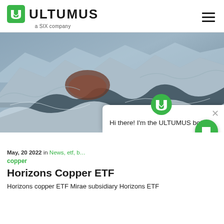ULTUMUS — a SIX company
[Figure (photo): Aerial photograph of snow-covered mountains with an open-pit mine or crater visible, showing rugged terrain with ridges and valleys covered in snow and ice.]
Hi there! I'm the ULTUMUS bot.
May, 20 2022 in News, etf, b...
copper
Horizons Copper ETF
Horizons copper ETF Mirae subsidiary Horizons ETF